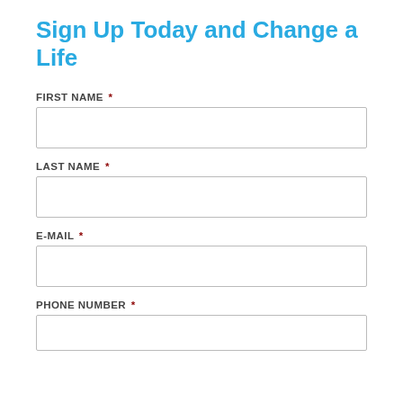Sign Up Today and Change a Life
FIRST NAME *
LAST NAME *
E-MAIL *
PHONE NUMBER *